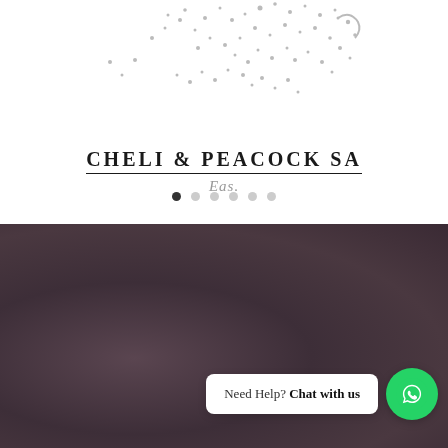[Figure (logo): Cheli & Peacock Safari logo with scattered dot pattern above brand name text]
[Figure (other): Carousel pagination dots, 6 dots with first one active/filled]
[Figure (photo): Dark brownish-purple textured background section, likely a landscape or water surface]
Need Help? Chat with us